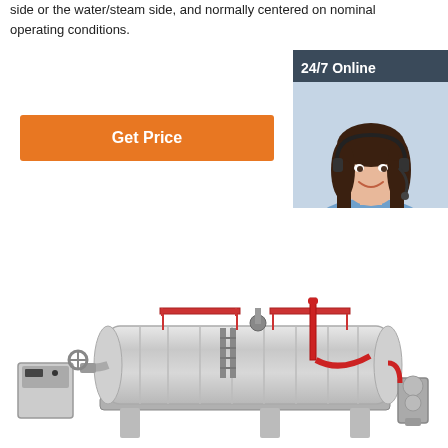side or the water/steam side, and normally centered on nominal operating conditions.
[Figure (other): Orange 'Get Price' button]
[Figure (other): Sidebar with '24/7 Online' label, photo of woman with headset, 'Click here for free chat!' text, and orange QUOTATION button]
[Figure (photo): Industrial steam boiler with stainless steel cylindrical tank, red piping, service platforms, electrical control panel, and pump assembly]